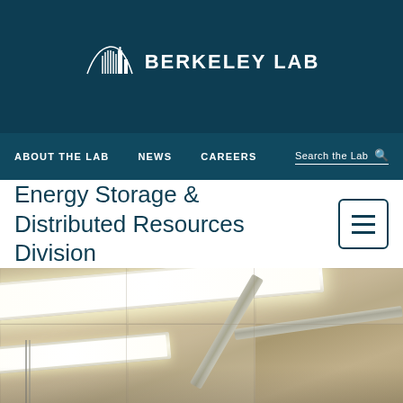BERKELEY LAB
ABOUT THE LAB  NEWS  CAREERS  Search the Lab
Energy Storage & Distributed Resources Division
[Figure (photo): Close-up photo of fluorescent light fixtures on a ceiling with metal conduit/ductwork visible, warm beige/tan tones]